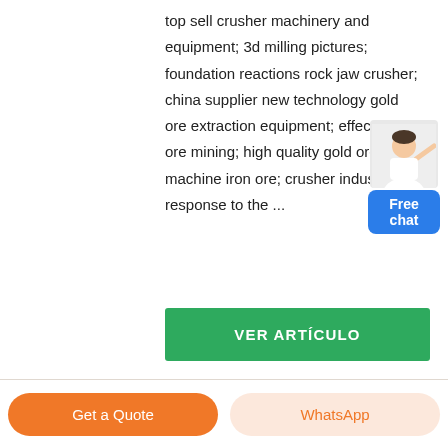top sell crusher machinery and equipment; 3d milling pictures; foundation reactions rock jaw crusher; china supplier new technology gold ore extraction equipment; effects lead ore mining; high quality gold ore machine iron ore; crusher industry response to the ...
[Figure (illustration): Customer service person with blue Free chat button widget]
VER ARTÍCULO
Get a Quote   WhatsApp